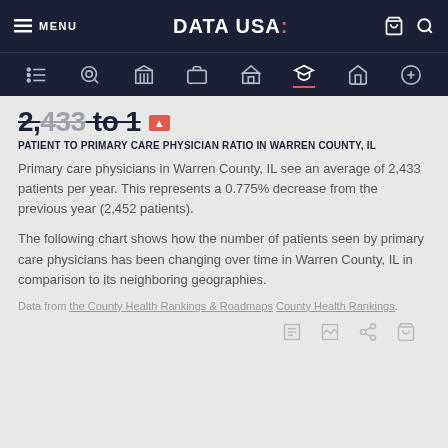MENU | DATA USA | [cart] [search]
2,433 to 1
PATIENT TO PRIMARY CARE PHYSICIAN RATIO IN WARREN COUNTY, IL
Primary care physicians in Warren County, IL see an average of 2,433 patients per year. This represents a 0.775% decrease from the previous year (2,452 patients).
The following chart shows how the number of patients seen by primary care physicians has been changing over time in Warren County, IL in comparison to its neighboring geographies.
Data from the County Health Rankings & Roadmaps County Health Rankings.